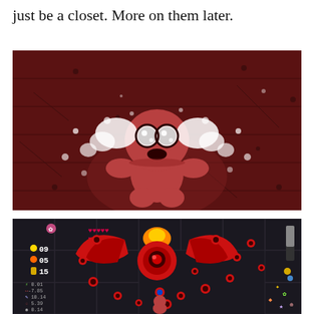just be a closet. More on them later.
[Figure (screenshot): Screenshot from The Binding of Isaac video game showing the main character Isaac crying with sparkling tear effects on a dark red wooden floor background]
[Figure (screenshot): Screenshot from The Binding of Isaac video game showing a boss fight scene with a large red winged creature, HUD elements showing 09 hearts, 05 bombs, 15 coins, and various stat values including 0.01, -7.85, 10.14, 5.39, 0.14]